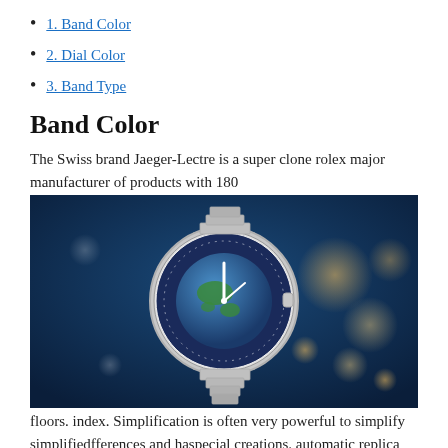1. Band Color
2. Dial Color
3. Band Type
Band Color
The Swiss brand Jaeger-Lectre is a super clone rolex major manufacturer of products with 180
[Figure (photo): A luxury world-time watch with a globe-decorated dial on a blue bokeh background, with a metal bracelet.]
floors. index. Simplification is often very powerful to simplify simplifiedfferences and haspecial creations. automatic replica mens